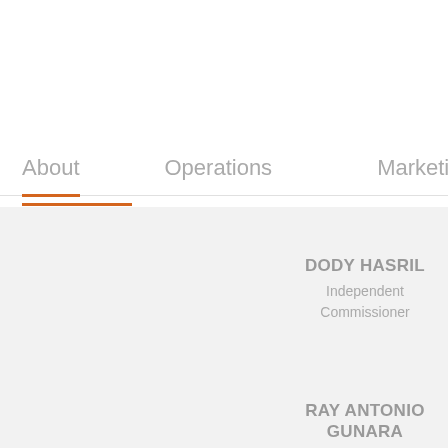About | Operations | Marketing | C
DODY HASRIL
Independent Commissioner
RAY ANTONIO GUNARA
President Director